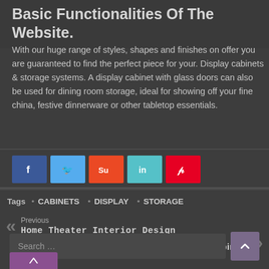Basic Functionalities Of The Website.
With our huge range of styles, shapes and finishes on offer you are guaranteed to find the perfect piece for your. Display cabinets & storage systems. A display cabinet with glass doors can also be used for dining room storage, ideal for showing off your fine china, festive dinnerware or other tabletop essentials.
[Figure (other): Social sharing buttons: Facebook (blue), Twitter (light blue), StumbleUpon (orange), LinkedIn (teal), Pinterest (red)]
Tags • CABINETS • DISPLAY • STORAGE
Previous
Home Theater Interior Design
Next
Tv Media Cabinets
Search …